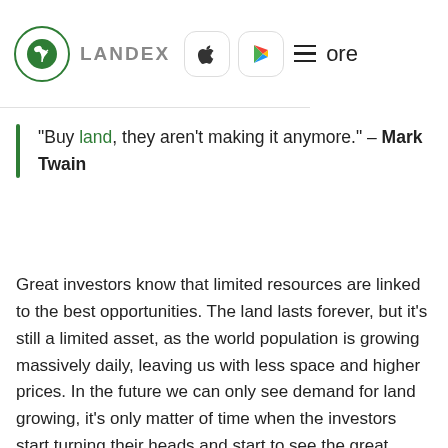LANDEX | App Store | Google Play | Menu | more
“Buy land, they aren’t making it anymore.” – Mark Twain
Great investors know that limited resources are linked to the best opportunities. The land lasts forever, but it's still a limited asset, as the world population is growing massively daily, leaving us with less space and higher prices. In the future we can only see demand for land growing, it's only matter of time when the investors start turning their heads and start to see the great value in land investing. Buy land, they aren't making it anymore.